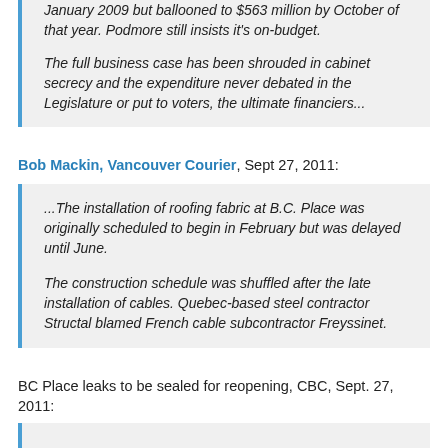January 2009 but ballooned to $563 million by October of that year. Podmore still insists it's on-budget.
The full business case has been shrouded in cabinet secrecy and the expenditure never debated in the Legislature or put to voters, the ultimate financiers...
Bob Mackin, Vancouver Courier, Sept 27, 2011:
...The installation of roofing fabric at B.C. Place was originally scheduled to begin in February but was delayed until June.
The construction schedule was shuffled after the late installation of cables. Quebec-based steel contractor Structal blamed French cable subcontractor Freyssinet.
BC Place leaks to be sealed for reopening, CBC, Sept. 27, 2011: